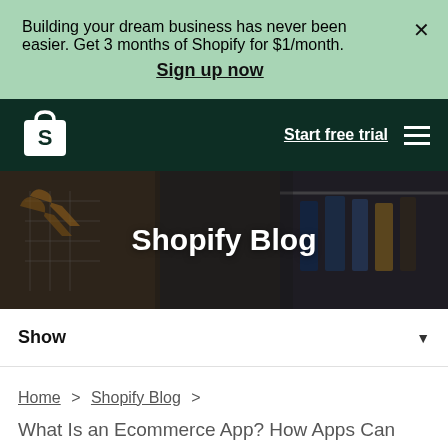Building your dream business has never been easier. Get 3 months of Shopify for $1/month.
Sign up now
[Figure (logo): Shopify bag logo in white on dark green navigation bar]
Start free trial
[Figure (photo): Dark-toned photo of a clothing store with hanging garments and wooden hangers]
Shopify Blog
Show
Home > Shopify Blog >
What Is an Ecommerce App? How Apps Can Boost Sales